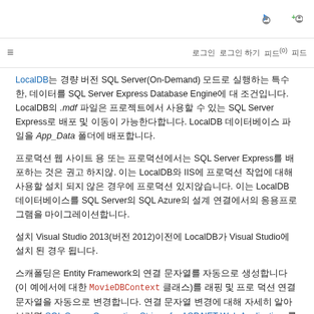[navigation icons: login, add user]
≡  [nav links: 로그인  로그인 하기  피드(0)  피드]
LocalDB는 경량 버전 SQL Server(On-Demand) 모드로 실행하는 특수한, 데이터를 SQL Server Express Database Engine에 대 조건입니다. LocalDB의 .mdf 파일은 프로젝트에서 사용할 수 있는 SQL Server Express로 배포 및 이동이 가능한다합니다. LocalDB 데이터베이스 파일을 App_Data폴더에 배포합니다.
프로덕션 웹 사이트 용 또는 프로덕션에서는 SQL Server Express를 배포하는 것은 권고 하지않. 이는 LocalDB와 IIS에 프로덕션 작업에 대해 사용할 설치 되지 않은 경우에 프로덕션 있지않습니다. 이는 LocalDB 데이터베이스를 SQL Server와 SQL Azure의 설계 연결에서의 응용프로그램을 마이그레이션.
설치 Visual Studio 2013(버전 2012)이전에 LocalDB가 Visual Studio에 설치 된 경우 됩니다.
스캐폴딩은 Entity Framework의 연결 문자열를 자동으로 생성합니다(이 예에서에 대한 MovieDBContext 클래스)를 래핑 및 프로 덕션 연결 문자열을 자동으로 변경합니다. 연결 문자열 변경에 대해 자세히 알아보려면 SQL Server Connection Strings for ASP.NET Web Applications를 참조하시기 바랍니다.